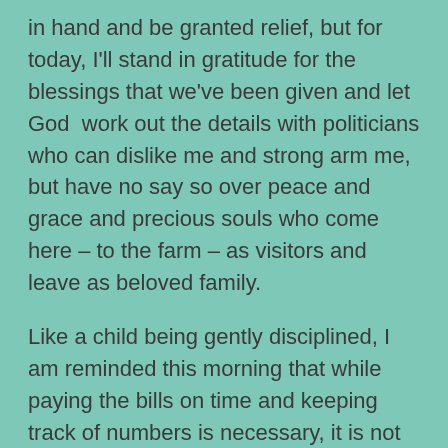in hand and be granted relief, but for today, I'll stand in gratitude for the blessings that we've been given and let God  work out the details with politicians who can dislike me and strong arm me, but have no say so over peace and grace and precious souls who come here – to the farm – as visitors and leave as beloved family.
Like a child being gently disciplined, I am reminded this morning that while paying the bills on time and keeping track of numbers is necessary, it is not my most important concern. My job is to be a good steward of and nurture the most fundamental part of our mission: peace and renewal for an individual's body,mind, soul and spirit. To be a witness to these changes in individuals, up close and in myriad ways, is miraculous. Each person we meet here and talk to remotely brings an experience that encourages and teaches. We are still